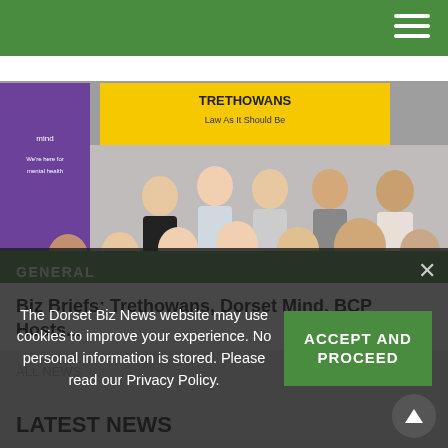[Figure (photo): Group photo of approximately 12 people standing in front of a yellow banner reading 'TRETHOWANS' and a purple Mind charity banner. Mixed professional and casual dress. The photo was likely taken at a business or charity event.]
GENERAL
Biz Briefs: Trethowans, Dorset Mind, BCP Hosts...
ALL NEWS
The Dorset Biz News website may use cookies to improve your experience. No personal information is stored. Please read our Privacy Policy.
ACCEPT AND PROCEED
LATEST NEWS